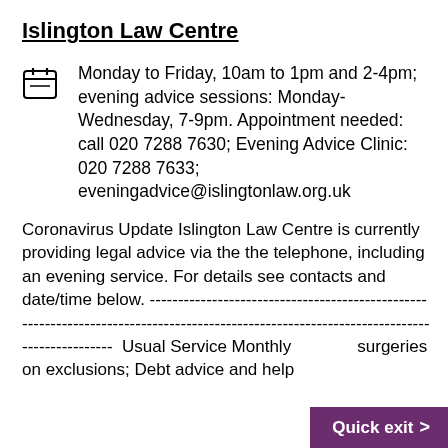Islington Law Centre
Monday to Friday, 10am to 1pm and 2-4pm; evening advice sessions: Monday-Wednesday, 7-9pm. Appointment needed: call 020 7288 7630; Evening Advice Clinic: 020 7288 7633; eveningadvice@islingtonlaw.org.uk
Coronavirus Update Islington Law Centre is currently providing legal advice via the the telephone, including an evening service. For details see contacts and date/time below. --------------------------------------------------------------------------------------------------------------------------------- Usual Service Monthly surgeries on exclusions; Debt advice and help